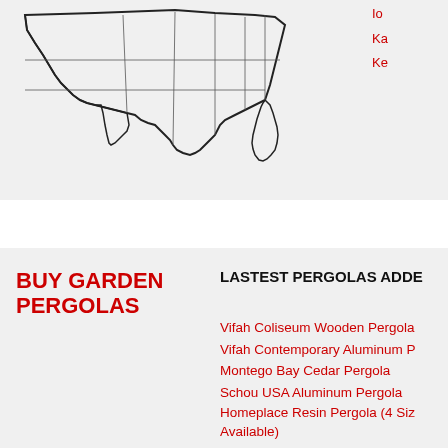[Figure (map): Partial map of the southern United States showing state outlines]
Io
Ka
Ke
BUY GARDEN PERGOLAS
LASTEST PERGOLAS ADDE
Vifah Coliseum Wooden Pergola
Vifah Contemporary Aluminum P
Montego Bay Cedar Pergola
Schou USA Aluminum Pergola
Homeplace Resin Pergola (4 Siz Available)
Tahawus Cedar Garden Pergola Extension Kit